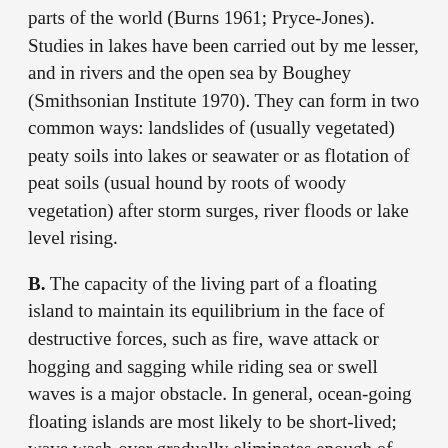parts of the world (Burns 1961; Pryce-Jones). Studies in lakes have been carried out by me lesser, and in rivers and the open sea by Boughey (Smithsonian Institute 1970). They can form in two common ways: landslides of (usually vegetated) peaty soils into lakes or seawater or as flotation of peat soils (usual hound by roots of woody vegetation) after storm surges, river floods or lake level rising.
B. The capacity of the living part of a floating island to maintain its equilibrium in the face of destructive forces, such as fire, wave attack or hogging and sagging while riding sea or swell waves is a major obstacle. In general, ocean-going floating islands are most likely to be short-lived; wave wash-over gradually eliminates enough of the island's store of freshwater to deplete soil air and kill vegetation around the edges which, in turn, causes erosion and diminishes buoyancy and horizontal mobility. The forces acting on a floating island determine the speed and direction of movement and are very similar to those which act on floating mobile ice chunks during the partially open-water season